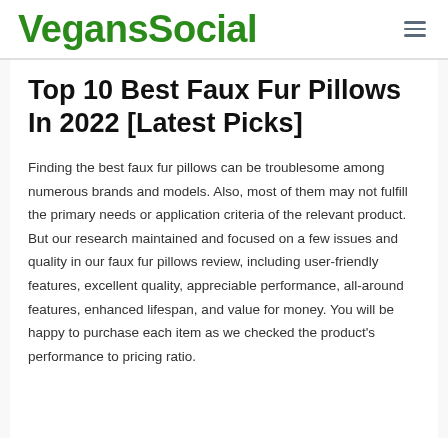VegansSocial
Top 10 Best Faux Fur Pillows In 2022 [Latest Picks]
Finding the best faux fur pillows can be troublesome among numerous brands and models. Also, most of them may not fulfill the primary needs or application criteria of the relevant product. But our research maintained and focused on a few issues and quality in our faux fur pillows review, including user-friendly features, excellent quality, appreciable performance, all-around features, enhanced lifespan, and value for money. You will be happy to purchase each item as we checked the product's performance to pricing ratio.